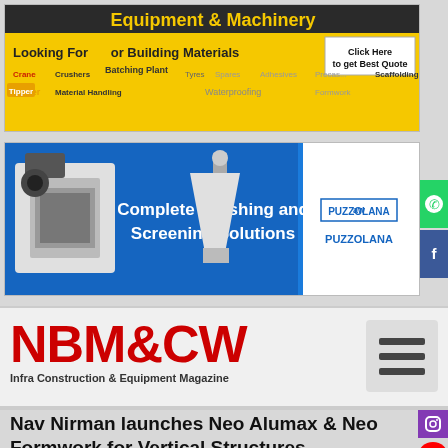[Figure (infographic): Yellow banner advertisement for Equipment & Machinery or Building Materials with tags like Crane, Crushers, Batching Plant, Tipper, Material Handling, Spares, Waterproofing, Formwork, Scaffolding, with Click Here to get Best Quote button]
[Figure (infographic): Blue banner for Puzzolana showing Complete Crushing and Screening Solutions with machinery images and Puzzolana logo on white background]
[Figure (logo): NBM&CW Infra Construction & Equipment Magazine logo in red with hamburger menu icon]
Nav Nirman launches Neo Alumax & Neo Formwork for Vertical Structures
[Figure (photo): Photo of aluminium formwork scaffolding structure for vertical construction against blue sky]